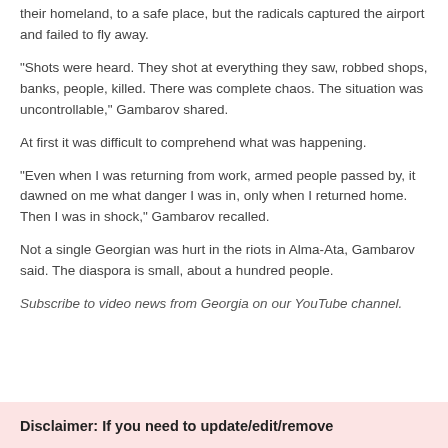their homeland, to a safe place, but the radicals captured the airport and failed to fly away.
“Shots were heard. They shot at everything they saw, robbed shops, banks, people, killed. There was complete chaos. The situation was uncontrollable,” Gambarov shared.
At first it was difficult to comprehend what was happening.
“Even when I was returning from work, armed people passed by, it dawned on me what danger I was in, only when I returned home. Then I was in shock,” Gambarov recalled.
Not a single Georgian was hurt in the riots in Alma-Ata, Gambarov said. The diaspora is small, about a hundred people.
Subscribe to video news from Georgia on our YouTube channel.
Disclaimer: If you need to update/edit/remove